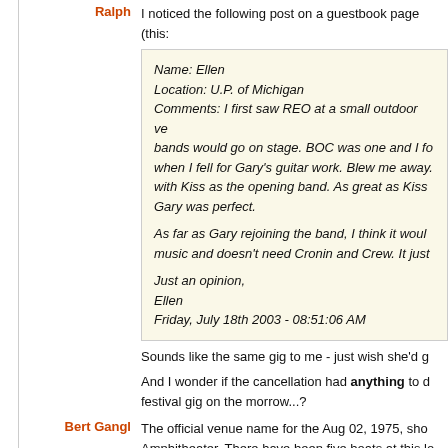Ralph
I noticed the following post on a guestbook page (this:
Name: Ellen
Location: U.P. of Michigan
Comments: I first saw REO at a small outdoor ve... bands would go on stage. BOC was one and I fo... when I fell for Gary's guitar work. Blew me away... with Kiss as the opening band. As great as Kiss... Gary was perfect.

As far as Gary rejoining the band, I think it would... music and doesn't need Cronin and Crew. It just...

Just an opinion,
Ellen
Friday, July 18th 2003 - 08:51:06 AM
Sounds like the same gig to me - just wish she'd g...
And I wonder if the cancellation had anything to d... festival gig on the morrow...?
Bert Gangl
The official venue name for the Aug 02, 1975, sho... Amphitheater. There have been five boats at this lo... The current boat, built in 1979, can still be seen at...
Sam's account of the show is pretty much spot-on,... Ladnor newspaper which estimated attendance...